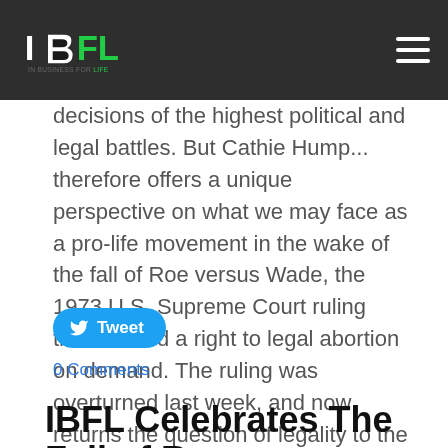IBFL IN BUSINESS FOR LIFE
decisions of the highest political and legal battles. But Cathie Humph... therefore offers a unique perspective on what we may face as a pro-life movement in the wake of the fall of Roe versus Wade, the 1973 U.S. Supreme Court ruling that created a right to legal abortion on demand. The ruling was overturned last week, and now returns the question of legality to the states. An estimated 26 states will likely have pro-life laws on the books that will protect all or most babies from conception until natural death, while the balance of the 24 states will protect legal abortion to varying degrees.
Tweet
0 Comments
IBFL Celebrates The Fall of Roe